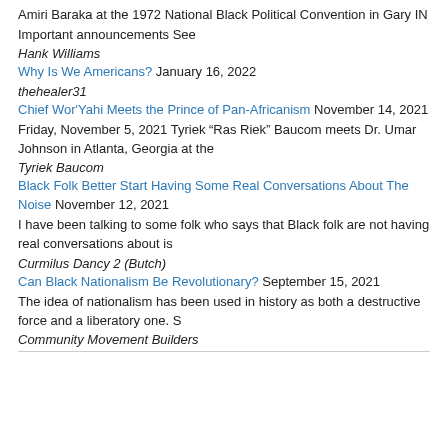Amiri Baraka at the 1972 National Black Political Convention in Gary IN
Important announcements See
Hank Williams
Why Is We Americans? January 16, 2022
thehealer31
Chief Wor'Yahi Meets the Prince of Pan-Africanism November 14, 2021
Friday, November 5, 2021 Tyriek “Ras Riek” Baucom meets Dr. Umar Johnson in Atlanta, Georgia at the
Tyriek Baucom
Black Folk Better Start Having Some Real Conversations About The Noise November 12, 2021
I have been talking to some folk who says that Black folk are not having real conversations about is
Curmilus Dancy 2 (Butch)
Can Black Nationalism Be Revolutionary? September 15, 2021
The idea of nationalism has been used in history as both a destructive force and a liberatory one. S
Community Movement Builders